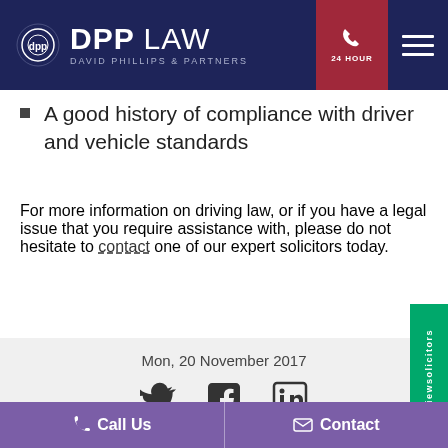[Figure (logo): DPP Law - David Phillips & Partners logo with navigation header including 24 Hour phone button and hamburger menu]
A good history of compliance with driver and vehicle standards
For more information on driving law, or if you have a legal issue that you require assistance with, please do not hesitate to contact one of our expert solicitors today.
Mon, 20 November 2017
Call Us | Contact